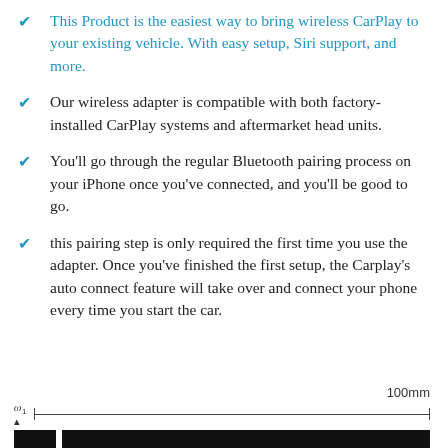✔ This Product is the easiest way to bring wireless CarPlay to your existing vehicle. With easy setup, Siri support, and more.
✔ Our wireless adapter is compatible with both factory-installed CarPlay systems and aftermarket head units.
✔ You'll go through the regular Bluetooth pairing process on your iPhone once you've connected, and you'll be good to go.
✔ this pairing step is only required the first time you use the adapter. Once you've finished the first setup, the Carplay's auto connect feature will take over and connect your phone every time you start the car.
[Figure (other): A ruler/scale bar showing 100mm measurement with a small icon on the left and a black bar below]